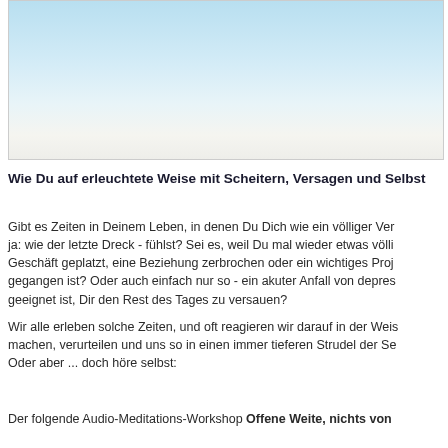[Figure (illustration): Sky gradient image, light blue to white/grey, no visible objects, appears to be a cloudy sky background]
Wie Du auf erleuchtete Weise mit Scheitern, Versagen und Selbst
Gibt es Zeiten in Deinem Leben, in denen Du Dich wie ein völliger Ver ja: wie der letzte Dreck - fühlst? Sei es, weil Du mal wieder etwas völli Geschäft geplatzt, eine Beziehung zerbrochen oder ein wichtiges Proj gegangen ist? Oder auch einfach nur so - ein akuter Anfall von depres geeignet ist, Dir den Rest des Tages zu versauen?
Wir alle erleben solche Zeiten, und oft reagieren wir darauf in der Weis machen, verurteilen und uns so in einen immer tieferen Strudel der Se Oder aber ... doch höre selbst:
Der folgende Audio-Meditations-Workshop Offene Weite, nichts von